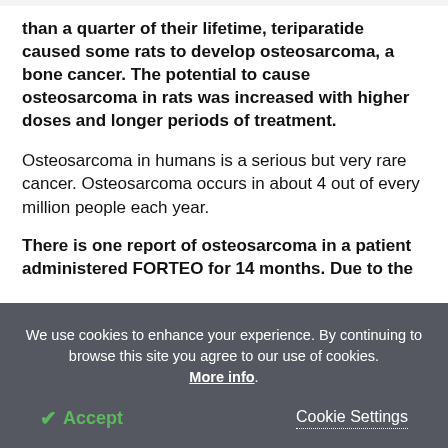than a quarter of their lifetime, teriparatide caused some rats to develop osteosarcoma, a bone cancer. The potential to cause osteosarcoma in rats was increased with higher doses and longer periods of treatment.
Osteosarcoma in humans is a serious but very rare cancer. Osteosarcoma occurs in about 4 out of every million people each year.
There is one report of osteosarcoma in a patient administered FORTEO for 14 months. Due to the
We use cookies to enhance your experience. By continuing to browse this site you agree to our use of cookies. More info.
Accept
Cookie Settings